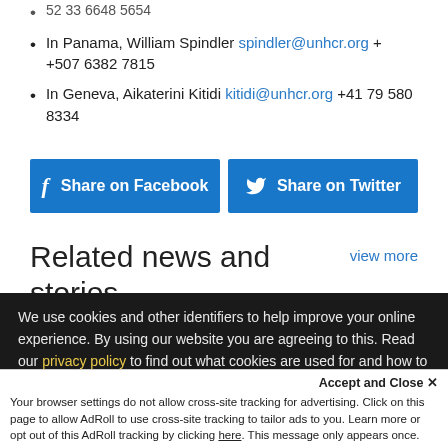52 33 6648 5654
In Panama, William Spindler spindler@unhcr.org + +507 6382 7815
In Geneva, Aikaterini Kitidi kitidi@unhcr.org +41 79 580 8334
[Figure (other): Share on Facebook and Share on Twitter buttons]
Related news and stories
view more
We use cookies and other identifiers to help improve your online experience. By using our website you are agreeing to this. Read our privacy policy to find out what cookies are used for and how to change your settings.
Accept and Close ×
Your browser settings do not allow cross-site tracking for advertising. Click on this page to allow AdRoll to use cross-site tracking to tailor ads to you. Learn more or opt out of this AdRoll tracking by clicking here. This message only appears once.